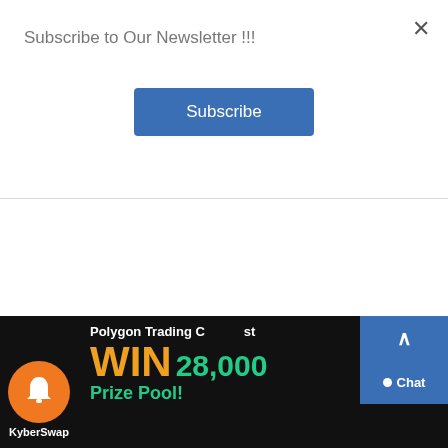Subscribe to Our Newsletter !!!
[Figure (screenshot): Subscribe button with blue background]
[Figure (infographic): KyberSwap Polygon Trading Contest advertisement banner. Orange circle logo with bell icon and KyberSwap text. Text reads: Polygon Trading Contest - WIN 28,000 Prize Pool]
[Figure (screenshot): Chat button (blue) and scroll-up arrow button]